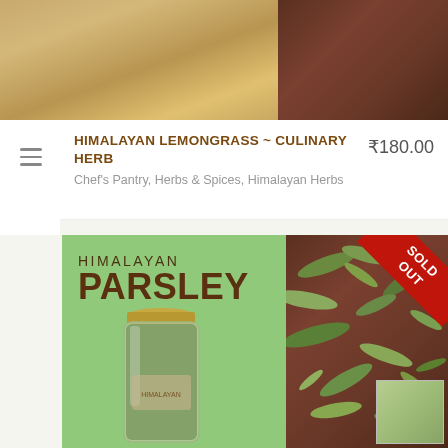[Figure (photo): Product listing page - top image strip showing two product images side by side: left shows wooden/tan background, right shows dark reddish-brown surface]
HIMALAYAN LEMONGRASS ~ CULINARY HERB
Chef's Pantry, Herbs & Spices, Himalayan Herbs
₹180.00
[Figure (photo): Himalayan Parsley product image showing two panels: left panel has mint-green background with text 'HIMALAYAN PARSLEY' and a glass jar filled with dried parsley, right panel shows close-up of dried parsley leaves on dark background. Red 'SOLD OUT' ribbon in top-right corner.]